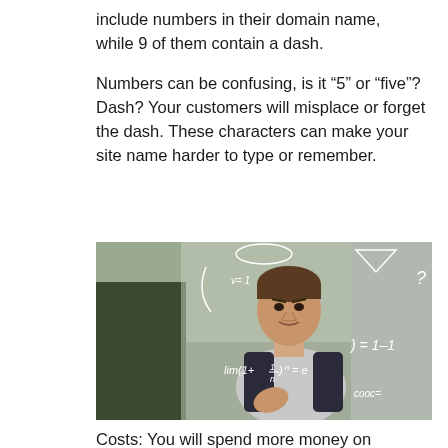include numbers in their domain name, while 9 of them contain a dash.
Numbers can be confusing, is it “5” or “five”? Dash? Your customers will misplace or forget the dash. These characters can make your site name harder to type or remember.
[Figure (photo): A confused-looking man standing in front of a glass board with mathematical equations and drawings written on it, including lim(1+1/n)^n = e and other formulas.]
Costs: You will spend more money on